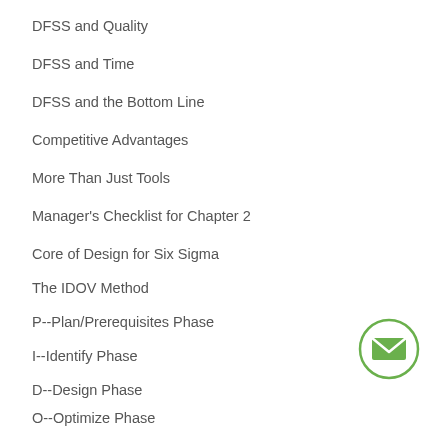DFSS and Quality
DFSS and Time
DFSS and the Bottom Line
Competitive Advantages
More Than Just Tools
Manager's Checklist for Chapter 2
Core of Design for Six Sigma
The IDOV Method
P--Plan/Prerequisites Phase
I--Identify Phase
D--Design Phase
O--Optimize Phase
V--Verify/Validate Phase
[Figure (illustration): Green circular email/envelope icon button]